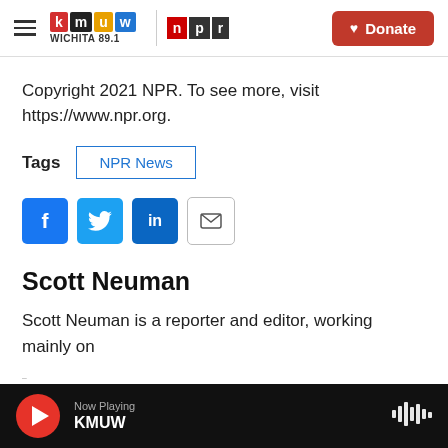KMUW WICHITA 89.1 | NPR | Donate
Copyright 2021 NPR. To see more, visit https://www.npr.org.
Tags  NPR News
[Figure (infographic): Social share buttons: Facebook, Twitter, LinkedIn, Email]
Scott Neuman
Scott Neuman is a reporter and editor, working mainly on breaking news for NPR's digital and radio platforms.
Now Playing KMUW